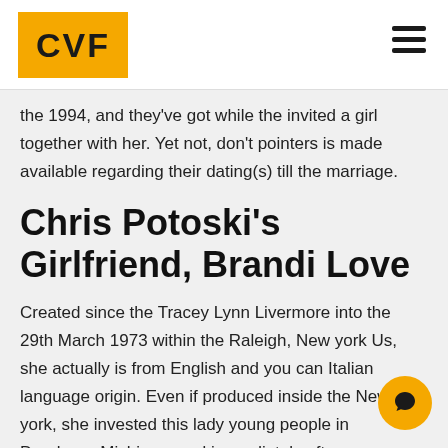CVF
the 1994, and they've got while the invited a girl together with her. Yet not, don't pointers is made available regarding their dating(s) till the marriage.
Chris Potoski's Girlfriend, Brandi Love
Created since the Tracey Lynn Livermore into the 29th March 1973 within the Raleigh, New york Us, she actually is from English and you can Italian language origin. Even if produced inside the New york, she invested this lady young people in Dearborn, Michigan, and immediately after